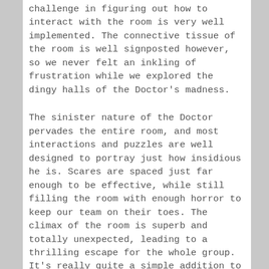challenge in figuring out how to interact with the room is very well implemented. The connective tissue of the room is well signposted however, so we never felt an inkling of frustration while we explored the dingy halls of the Doctor's madness.
The sinister nature of the Doctor pervades the entire room, and most interactions and puzzles are well designed to portray just how insidious he is. Scares are spaced just far enough to be effective, while still filling the room with enough horror to keep our team on their toes. The climax of the room is superb and totally unexpected, leading to a thrilling escape for the whole group. It's really quite a simple addition to the room, but it works extremely well, injecting the experience with some fun psychological terror.